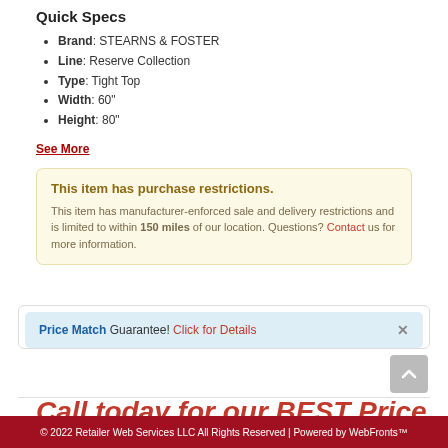Quick Specs
Brand: STEARNS & FOSTER
Line: Reserve Collection
Type: Tight Top
Width: 60"
Height: 80"
See More
This item has purchase restrictions. This item has manufacturer-enforced sale and delivery restrictions and is limited to within 150 miles of our location. Questions? Contact us for more information.
Price Match Guarantee! Click for Details
Call today for our BEST Price
© 2022 Retailer Web Services LLC All Rights Reserved | Powered by WebFronts™